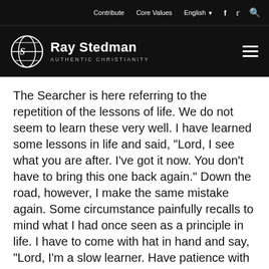Contribute   Core Values   English   f   Twitter   Search
Ray Stedman AUTHENTIC CHRISTIANITY
The Searcher is here referring to the repetition of the lessons of life. We do not seem to learn these very well. I have learned some lessons in life and said, "Lord, I see what you are after. I've got it now. You don't have to bring this one back again." Down the road, however, I make the same mistake again. Some circumstance painfully recalls to mind what I had once seen as a principle in life. I have to come with hat in hand and say, "Lord, I'm a slow learner. Have patience with me." God says, "I understand. I'm prepared to have patience with you and teach you this over and over and over again until you get it right." Have you